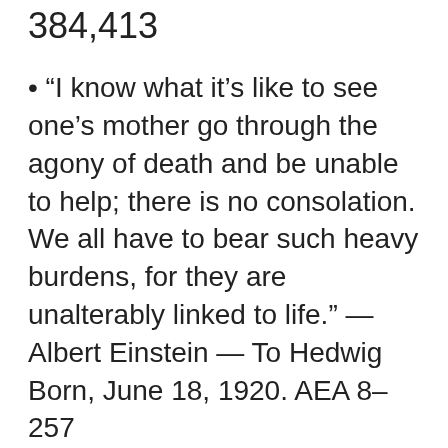384,413
• “I know what it’s like to see one’s mother go through the agony of death and be unable to help; there is no consolation. We all have to bear such heavy burdens, for they are unalterably linked to life.” —Albert Einstein — To Hedwig Born, June 18, 1920. AEA 8–257
• “When I was young, all I wanted and expected from life was to sit